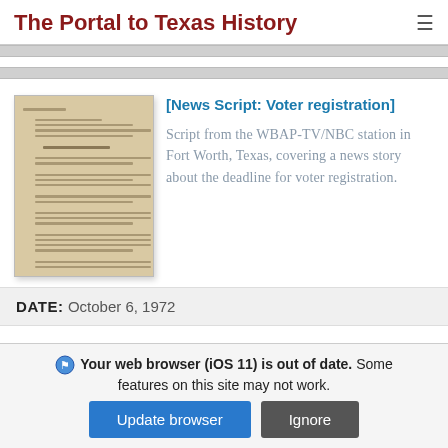The Portal to Texas History
[Figure (photo): Thumbnail image of a typed news script document on aged tan/beige paper]
[News Script: Voter registration]
Script from the WBAP-TV/NBC station in Fort Worth, Texas, covering a news story about the deadline for voter registration.
DATE: October 6, 1972
Your web browser (iOS 11) is out of date. Some features on this site may not work.